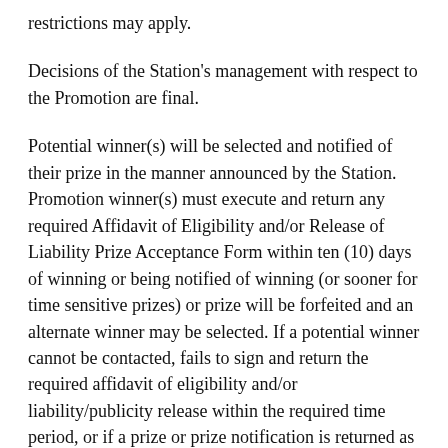restrictions may apply.
Decisions of the Station's management with respect to the Promotion are final.
Potential winner(s) will be selected and notified of their prize in the manner announced by the Station. Promotion winner(s) must execute and return any required Affidavit of Eligibility and/or Release of Liability Prize Acceptance Form within ten (10) days of winning or being notified of winning (or sooner for time sensitive prizes) or prize will be forfeited and an alternate winner may be selected. If a potential winner cannot be contacted, fails to sign and return the required affidavit of eligibility and/or liability/publicity release within the required time period, or if a prize or prize notification is returned as undeliverable, the potential winner forfeits the prize.
Payments of all federal, state and local taxes related to the award of a prize are solely the responsibility of the winner of the prize. The winner will be required to complete and submit an IRS Form W-9 with the winner's full Social Security Number